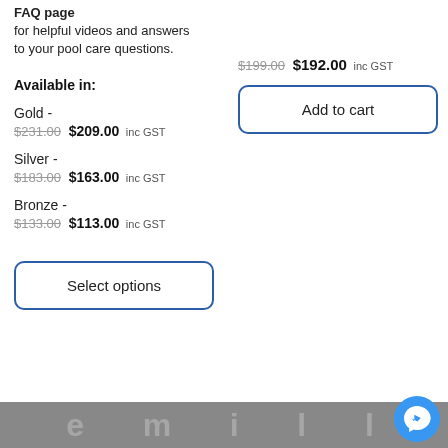FAQ page for helpful videos and answers to your pool care questions.
Available in:
Gold -
$231.00 $209.00 inc GST
Silver -
$183.00 $163.00 inc GST
Bronze -
$133.00 $113.00 inc GST
Select options
$199.00 $192.00 inc GST
Add to cart